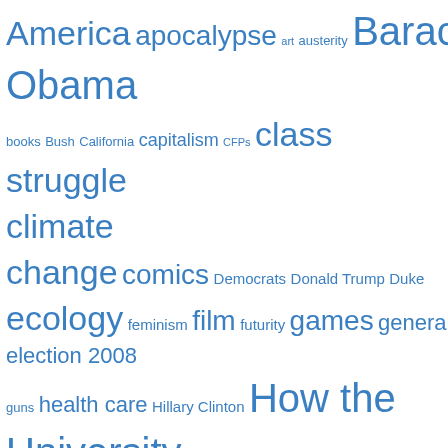[Figure (infographic): Tag cloud with various topics in different font sizes, all in blue. Terms include America, apocalypse, art, austerity, Barack Obama, books, Bush, California, capitalism, CFPs, class struggle, climate change, comics, Democrats, Donald Trump, Duke, ecology, feminism, film, futurity, games, general election 2008, guns, health care, Hillary Clinton, How the University Works, immigration, John McCain, kids today, labor, literature, maps, Marquette, Milwaukee, misogyny, music, neoliberalism, New Jersey, New York, North Carolina, nuclearity, outer space, over-educated literary theory, PhDs, pedagogy, politics, polls, prison-industrial complex, race, racism, rape, rape culture, Republicans, science, science fiction, sexism, Star Trek, Star Wars, student debt, Supreme Court, teaching, television, the courts, the humanities, the law, the Senate, unions, Utopia]